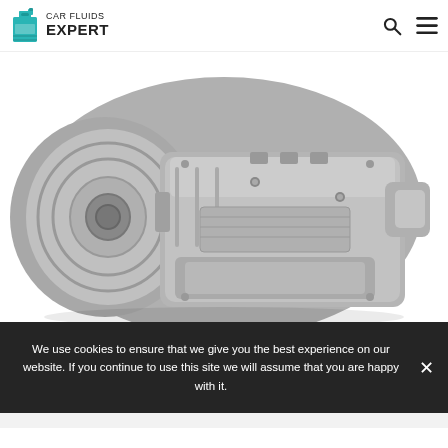CAR FLUIDS EXPERT
[Figure (photo): Black and white photograph of an automotive transmission / gearbox unit against a white background]
We use cookies to ensure that we give you the best experience on our website. If you continue to use this site we will assume that you are happy with it.